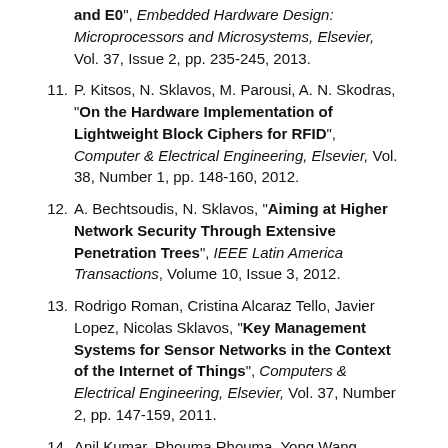(continuation) and E0", Embedded Hardware Design: Microprocessors and Microsystems, Elsevier, Vol. 37, Issue 2, pp. 235-245, 2013.
11. P. Kitsos, N. Sklavos, M. Parousi, A. N. Skodras, "On the Hardware Implementation of Lightweight Block Ciphers for RFID", Computer & Electrical Engineering, Elsevier, Vol. 38, Number 1, pp. 148-160, 2012.
12. A. Bechtsoudis, N. Sklavos, "Aiming at Higher Network Security Through Extensive Penetration Trees", IEEE Latin America Transactions, Volume 10, Issue 3, 2012.
13. Rodrigo Roman, Cristina Alcaraz Tello, Javier Lopez, Nicolas Sklavos, "Key Management Systems for Sensor Networks in the Context of the Internet of Things", Computers & Electrical Engineering, Elsevier, Vol. 37, Number 2, pp. 147-159, 2011.
14. Anil Kumar, Rhouma Rhouma, Yong Wang, Nicolas Sklavos, M.K. Ghose, "A blind source separation-based method for multiple image encryption"